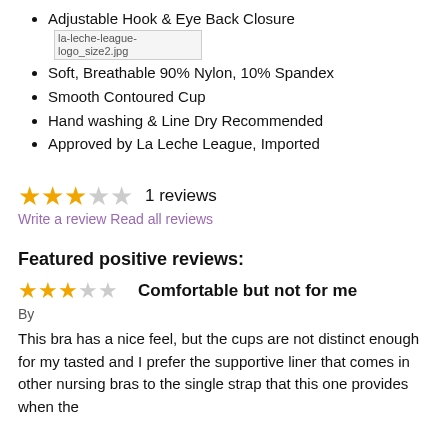Adjustable Hook & Eye Back Closure
Soft, Breathable 90% Nylon, 10% Spandex
Smooth Contoured Cup
Hand washing & Line Dry Recommended
Approved by La Leche League, Imported
★★★☆☆  1 reviews
Write a review  Read all reviews
Featured positive reviews:
★★★☆☆  Comfortable but not for me
By
This bra has a nice feel, but the cups are not distinct enough for my tasted and I prefer the supportive liner that comes in other nursing bras to the single strap that this one provides when the